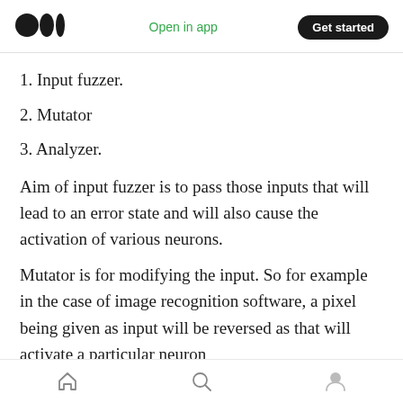Medium logo | Open in app | Get started
1. Input fuzzer.
2. Mutator
3. Analyzer.
Aim of input fuzzer is to pass those inputs that will lead to an error state and will also cause the activation of various neurons.
Mutator is for modifying the input. So for example in the case of image recognition software, a pixel being given as input will be reversed as that will activate a particular neuron
Home | Search | Profile